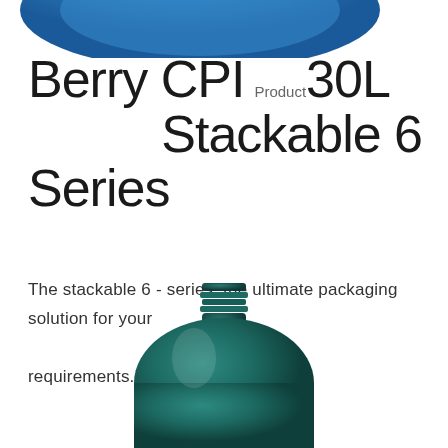[Figure (photo): Partial view of a blue plastic container/bottle top, cropped at the top of the page]
Berry CPI Product 30L Stackable 6 Series
The stackable 6 - series, the ultimate packaging solution for your requirements. Designed for a wide...
[Figure (photo): Dark teal/green plastic bottle with screw-top neck, showing the upper portion of the container, cropped at the bottom of the page]